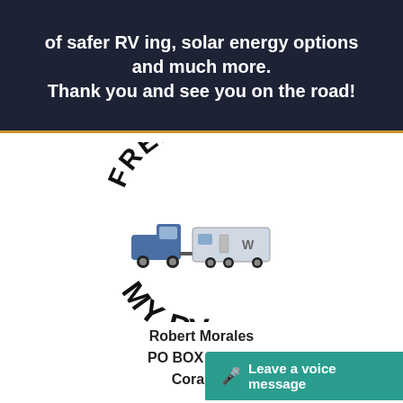of safer RV ing, solar energy options and much more. Thank you and see you on the road!
[Figure (logo): Free In My RV circular logo with arched text 'FREE IN' on top and 'MY RV' on bottom, with a truck towing a travel trailer in the center]
Robert Morales
PO BOX 145012
Coral Ga...
Leave a voice message